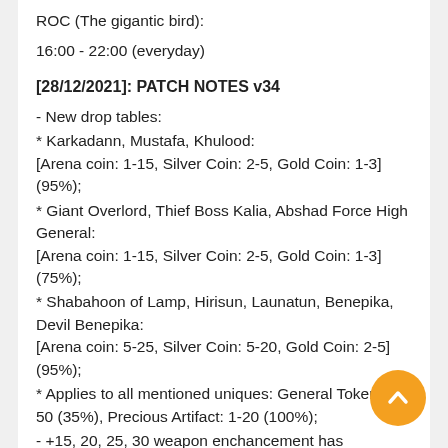ROC (The gigantic bird):
16:00 - 22:00 (everyday)
[28/12/2021]: PATCH NOTES v34
- New drop tables:
* Karkadann, Mustafa, Khulood:
[Arena coin: 1-15, Silver Coin: 2-5, Gold Coin: 1-3] (95%);
* Giant Overlord, Thief Boss Kalia, Abshad Force High General:
[Arena coin: 1-15, Silver Coin: 2-5, Gold Coin: 1-3] (75%);
* Shabahoon of Lamp, Hirisun, Launatun, Benepika, Devil Benepika:
[Arena coin: 5-25, Silver Coin: 5-20, Gold Coin: 2-5] (95%);
* Applies to all mentioned uniques: General Token: 1-50 (35%), Precious Artifact: 1-20 (100%);
- +15, 20, 25, 30 weapon enchancement has new updated weapon glows